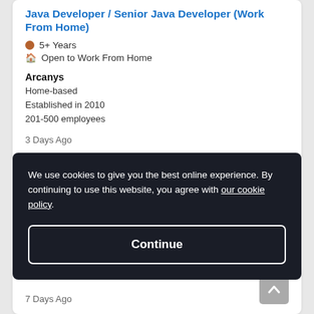Java Developer / Senior Java Developer (Work From Home)
5+ Years
Open to Work From Home
Arcanys
Home-based
Established in 2010
201-500 employees
3 Days Ago
We use cookies to give you the best online experience. By continuing to use this website, you agree with our cookie policy.
Continue
7 Days Ago